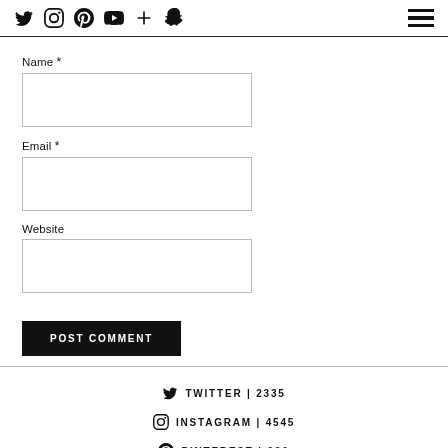Social media icons: Twitter, Instagram, Pinterest, YouTube, Plus, Snapchat; Hamburger menu
Name *
Email *
Website
POST COMMENT
TWITTER | 2335
INSTAGRAM | 4545
PINTEREST | 030